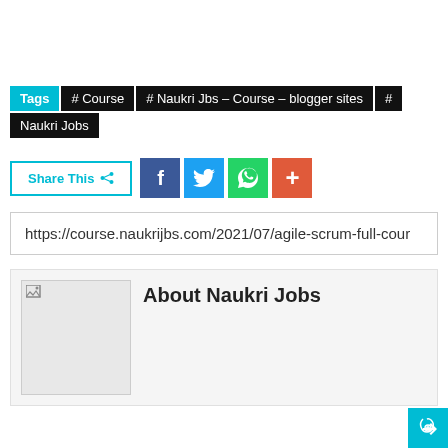Tags  # Course  # Naukri Jbs – Course – blogger sites  # Naukri Jobs
Share This
https://course.naukrijbs.com/2021/07/agile-scrum-full-cour
About Naukri Jobs
[Figure (photo): Placeholder/broken image in About Naukri Jobs section]